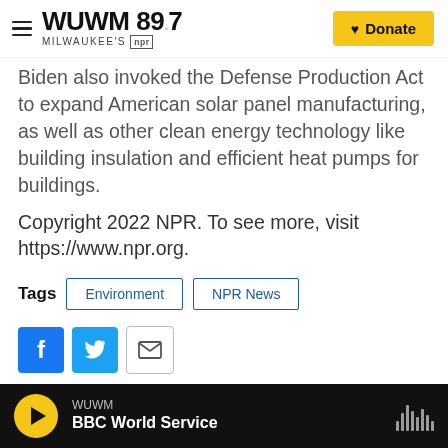WUWM 89.7 Milwaukee's NPR | Donate
Biden also invoked the Defense Production Act to expand American solar panel manufacturing, as well as other clean energy technology like building insulation and efficient heat pumps for buildings.
Copyright 2022 NPR. To see more, visit https://www.npr.org.
Tags  Environment  NPR News
[Figure (other): Social sharing buttons: Facebook, Twitter, Email]
WUWM | BBC World Service